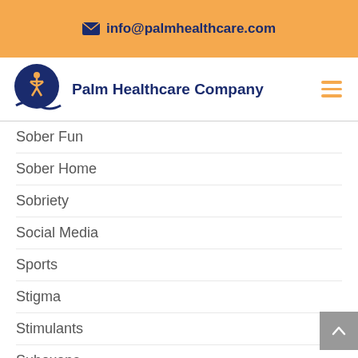info@palmhealthcare.com
[Figure (logo): Palm Healthcare Company logo: blue circle with orange human figure, with blue swoosh/wave below]
Palm Healthcare Company
Sober Fun
Sober Home
Sobriety
Social Media
Sports
Stigma
Stimulants
Suboxone
Suicide
Synthetic Drugs